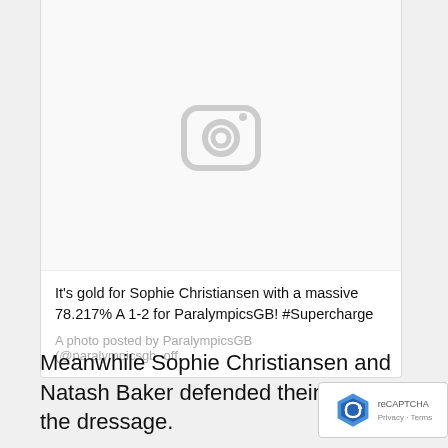[Figure (screenshot): Instagram embed card showing a placeholder image with a camera icon, caption text, and attribution line]
It's gold for Sophie Christiansen with a massive 78.217% A 1-2 for ParalympicsGB! #Supercharge
A photo posted by ParalympicsGB (@paralympicsgb_off...
Meanwhile Sophie Christiansen and Natash Baker defended their titles in the dressage.